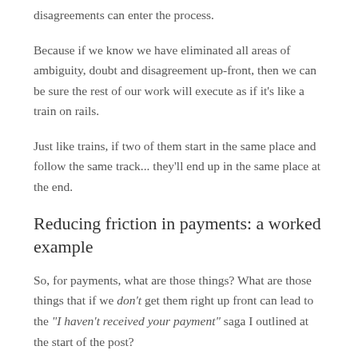disagreements can enter the process.
Because if we know we have eliminated all areas of ambiguity, doubt and disagreement up-front, then we can be sure the rest of our work will execute as if it's like a train on rails.
Just like trains, if two of them start in the same place and follow the same track... they'll end up in the same place at the end.
Reducing friction in payments: a worked example
So, for payments, what are those things? What are those things that if we don't get them right up front can lead to the “I haven’t received your payment” saga I outlined at the start of the post?